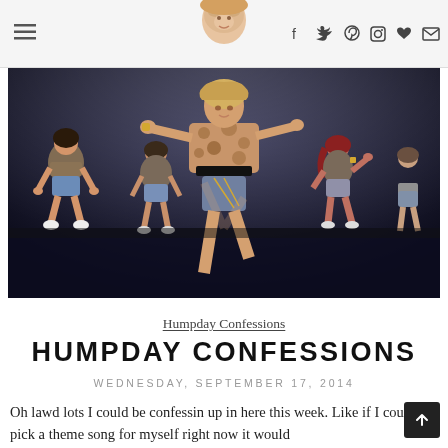≡  [logo]  f  t  Pinterest  Instagram  ♥  ✉
[Figure (photo): Dance performance photo showing women in denim shorts and crop tops on a dark stage, central figure in animal print jacket striking a pose with arms outstretched]
Humpday Confessions
HUMPDAY CONFESSIONS
WEDNESDAY, SEPTEMBER 17, 2014
Oh lawd lots I could be confessin up in here this week. Like if I could pick a theme song for myself right now it would